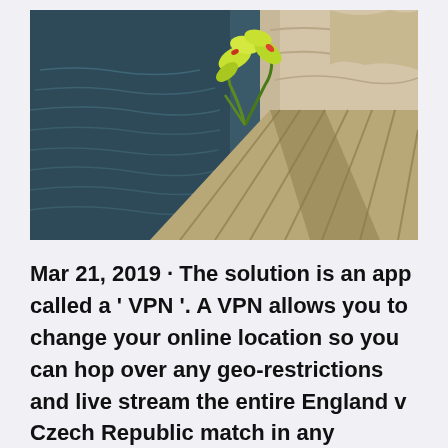[Figure (photo): Outdoor nature photo showing a wooden dock or pier with weathered planks, a small green plant growing from a crack, dark water on the left, and rocky surface on the right with sunlight casting shadows.]
Mar 21, 2019 · The solution is an app called a ' VPN '. A VPN allows you to change your online location so you can hop over any geo-restrictions and live stream the entire England v Czech Republic match in any country. There are loads of different VPN